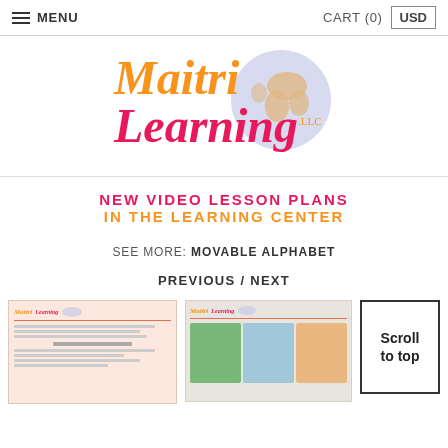MENU | CART (0) | USD
[Figure (logo): Maitri Learning LLC logo with orange italic 'Maitri' text, pink/red italic 'Learning' text, and a light purple globe illustration in the background]
NEW VIDEO LESSON PLANS IN THE LEARNING CENTER
SEE MORE: MOVABLE ALPHABET
PREVIOUS / NEXT
[Figure (screenshot): Thumbnail of a Maitri Learning document page with text lines]
[Figure (photo): Thumbnail showing a photo of educational materials on a table]
Scroll to top